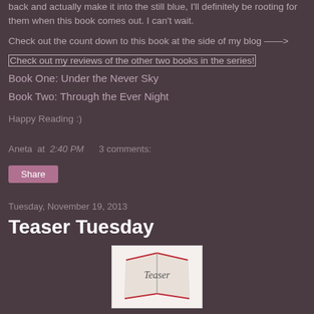back and actually make it into the still blue, I'll definitely be rooting for them when this book comes out. I can't wait.
Check out the count down to this book at the side of my blog ——>
Check out my reviews of the other two books in the series!
Book One: Under the Never Sky
Book Two: Through the Ever Night
Happy Reading :)
Aneta at 2:40 PM    3 comments:
Share
Tuesday, November 19, 2013
Teaser Tuesday
[Figure (illustration): Teaser Tuesday book logo illustration showing open books with red accents and the text 'Teaser' in script font]